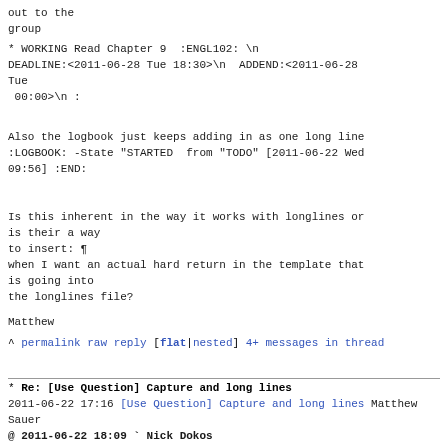out to the
group
* WORKING Read Chapter 9  :ENGL102: \n
DEADLINE:<2011-06-28 Tue 18:30>\n  ADDEND:<2011-06-28 Tue
 00:00>\n :
Also the logbook just keeps adding in as one long line
:LOGBOOK: -State "STARTED  from "TODO" [2011-06-22 Wed
09:56] :END:
Is this inherent in the way it works with longlines or
is their a way
to insert: ¶
when I want an actual hard return in the template that
is going into
the longlines file?
Matthew
^ permalink raw reply   [flat|nested] 4+ messages in
thread
* Re: [Use Question] Capture and long lines
   2011-06-22 17:16 [Use Question] Capture and long
lines Matthew Sauer
@ 2011-06-22 18:09 ` Nick Dokos